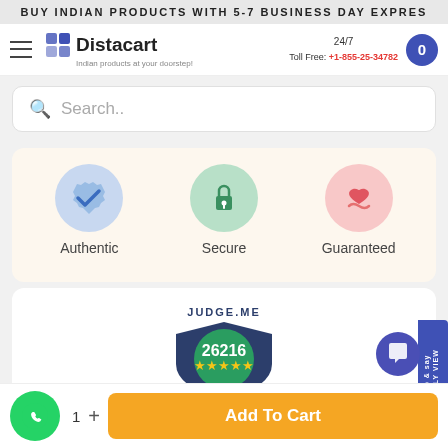BUY INDIAN PRODUCTS WITH 5-7 BUSINESS DAY EXPRES
[Figure (logo): Distacart logo with icon and tagline 'Indian products at your doorstep']
24/7 Toll Free: +1-855-25-34782
Search..
[Figure (infographic): Three trust badges: Authentic (blue shield checkmark circle), Secure (green lock circle), Guaranteed (pink heart/hands circle)]
[Figure (infographic): Judge.me verified reviews badge showing 26216 reviews with 4.5 star rating]
Add To Cart